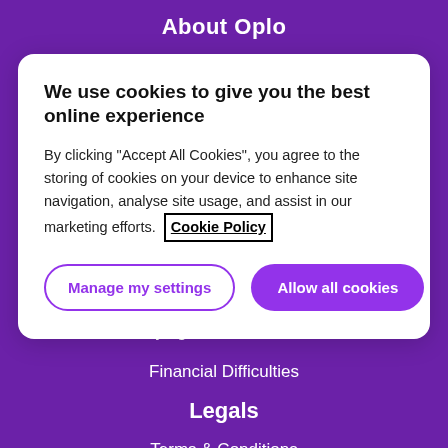About Oplo
We use cookies to give you the best online experience
By clicking “Accept All Cookies”, you agree to the storing of cookies on your device to enhance site navigation, analyse site usage, and assist in our marketing efforts. Cookie Policy
Manage my settings
Allow all cookies
Staying Covid-19 Secure
Financial Difficulties
Legals
Terms & Conditions